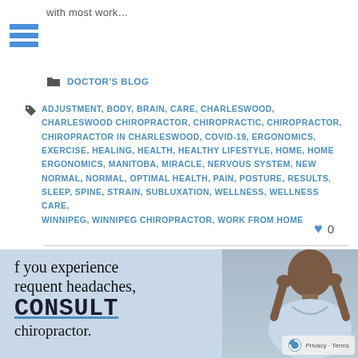with most work…
DOCTOR'S BLOG
ADJUSTMENT, BODY, BRAIN, CARE, CHARLESWOOD, CHARLESWOOD CHIROPRACTOR, CHIROPRACTIC, CHIROPRACTOR, CHIROPRACTOR IN CHARLESWOOD, COVID-19, ERGONOMICS, EXERCISE, HEALING, HEALTH, HEALTHY LIFESTYLE, HOME, HOME ERGONOMICS, MANITOBA, MIRACLE, NERVOUS SYSTEM, NEW NORMAL, NORMAL, OPTIMAL HEALTH, PAIN, POSTURE, RESULTS, SLEEP, SPINE, STRAIN, SUBLUXATION, WELLNESS, WELLNESS CARE, WINNIPEG, WINNIPEG CHIROPRACTOR, WORK FROM HOME
0
[Figure (photo): A man holding his temples as if experiencing a headache, with text overlay reading: 'If you experience frequent headaches, CONSULT a chiropractor.' A reCAPTCHA privacy badge is in the bottom right corner.]